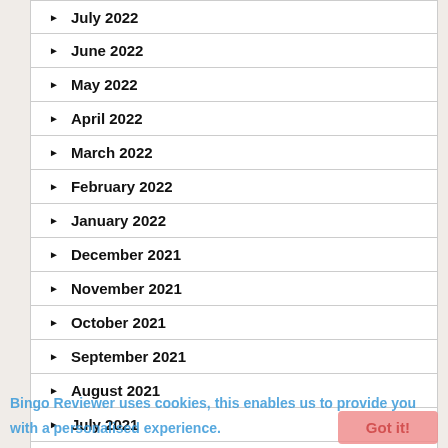July 2022
June 2022
May 2022
April 2022
March 2022
February 2022
January 2022
December 2021
November 2021
October 2021
September 2021
August 2021
July 2021
June 2021
Bingo Reviewer uses cookies, this enables us to provide you with a personalised experience.